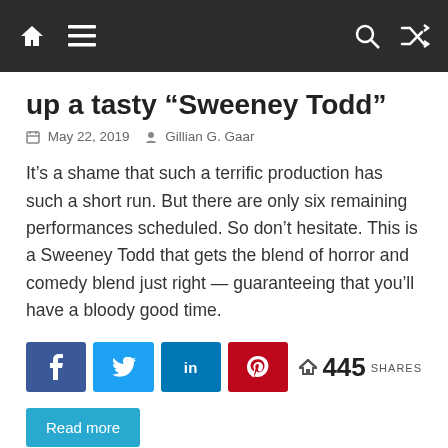Navigation bar with home, menu, search, and shuffle icons
up a tasty “Sweeney Todd”
May 22, 2019   Gillian G. Gaar
It’s a shame that such a terrific production has such a short run. But there are only six remaining performances scheduled. So don’t hesitate. This is a Sweeney Todd that gets the blend of horror and comedy blend just right — guaranteeing that you’ll have a bloody good time.
445 SHARES
Read more
[Figure (photo): Dark concert venue ceiling with stage lighting including blue and purple lights]